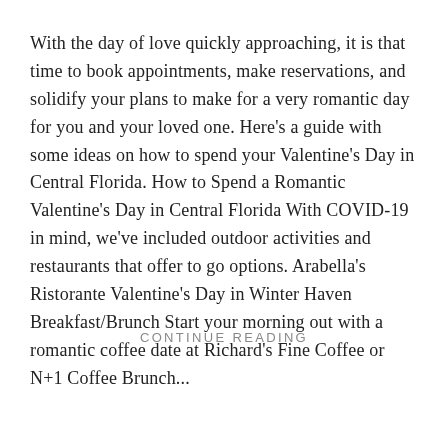With the day of love quickly approaching, it is that time to book appointments, make reservations, and solidify your plans to make for a very romantic day for you and your loved one. Here's a guide with some ideas on how to spend your Valentine's Day in Central Florida. How to Spend a Romantic Valentine's Day in Central Florida With COVID-19 in mind, we've included outdoor activities and restaurants that offer to go options. Arabella's Ristorante Valentine's Day in Winter Haven Breakfast/Brunch Start your morning out with a romantic coffee date at Richard's Fine Coffee or N+1 Coffee Brunch...
CONTINUE READING